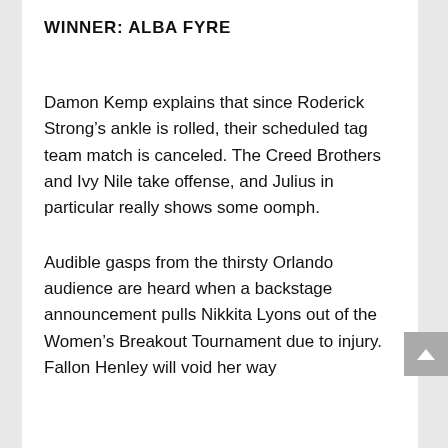WINNER: ALBA FYRE
Damon Kemp explains that since Roderick Strong’s ankle is rolled, their scheduled tag team match is canceled. The Creed Brothers and Ivy Nile take offense, and Julius in particular really shows some oomph.
Audible gasps from the thirsty Orlando audience are heard when a backstage announcement pulls Nikkita Lyons out of the Women’s Breakout Tournament due to injury. Fallon Henley will void her way